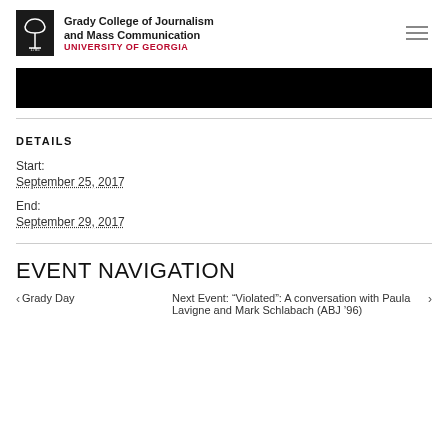Grady College of Journalism and Mass Communication UNIVERSITY OF GEORGIA
[Figure (other): Black banner/image area]
DETAILS
Start:
September 25, 2017
End:
September 29, 2017
EVENT NAVIGATION
< Grady Day
Next Event: "Violated": A conversation with Paula Lavigne and Mark Schlabach (ABJ '96) >